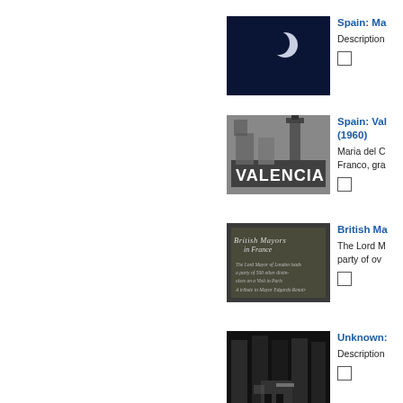[Figure (photo): Dark blue image with a half-moon visible against night sky]
Spain: Ma...
Description...
[Figure (photo): Black and white photo of Valencia sign with building in background]
Spain: Val... (1960)
Maria del C... Franco, gra...
[Figure (photo): Black and white image of a title card reading British Mayors in France with descriptive text]
British Ma...
The Lord M... party of ov...
[Figure (photo): Dark black and white photo of a storefront or entrance]
Unknown:...
Description...